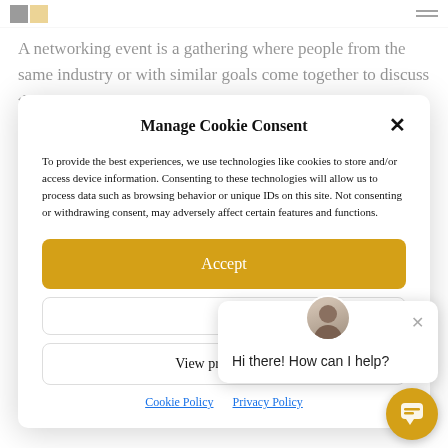[Figure (logo): Website logo with black and gold pixel blocks on left, hamburger menu lines on right]
A networking event is a gathering where people from the same industry or with similar goals come together to discuss the...
Manage Cookie Consent
To provide the best experiences, we use technologies like cookies to store and/or access device information. Consenting to these technologies will allow us to process data such as browsing behavior or unique IDs on this site. Not consenting or withdrawing consent, may adversely affect certain features and functions.
Accept
View preferences
Cookie Policy   Privacy Policy
Hi there! How can I help?